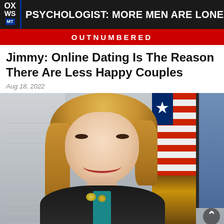[Figure (screenshot): Fox News TV broadcast screenshot showing headline: PSYCHOLOGIST: MORE MEN ARE LONELIER THAN EVER, with OUTNUMBERED banner in red below]
Jimmy: Online Dating Is The Reason There Are Less Happy Couples
Aug 18, 2022
[Figure (photo): Photo of a smiling blonde woman in a dark jacket with teal accent, sitting in front of an American flag and a grey/blue background]